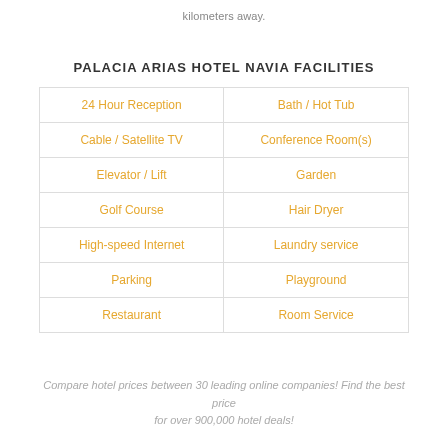kilometers away.
PALACIA ARIAS HOTEL NAVIA FACILITIES
| 24 Hour Reception | Bath / Hot Tub |
| Cable / Satellite TV | Conference Room(s) |
| Elevator / Lift | Garden |
| Golf Course | Hair Dryer |
| High-speed Internet | Laundry service |
| Parking | Playground |
| Restaurant | Room Service |
Compare hotel prices between 30 leading online companies! Find the best price for over 900,000 hotel deals!